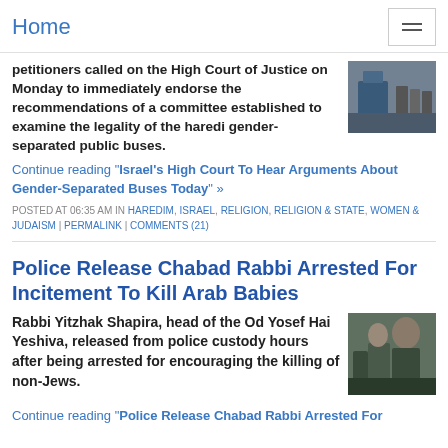Home
petitioners called on the High Court of Justice on Monday to immediately endorse the recommendations of a committee established to examine the legality of the haredi gender-separated public buses.
[Figure (photo): Photo of people near a bus, apparently in Israel street scene]
Continue reading "Israel's High Court To Hear Arguments About Gender-Separated Buses Today" »
POSTED AT 06:35 AM IN HAREDIM, ISRAEL, RELIGION, RELIGION & STATE, WOMEN & JUDAISM | PERMALINK | COMMENTS (21)
Police Release Chabad Rabbi Arrested For Incitement To Kill Arab Babies
Rabbi Yitzhak Shapira, head of the Od Yosef Hai Yeshiva, released from police custody hours after being arrested for encouraging the killing of non-Jews.
[Figure (photo): Photo of a person being detained or arrested]
Continue reading "Police Release Chabad Rabbi Arrested For